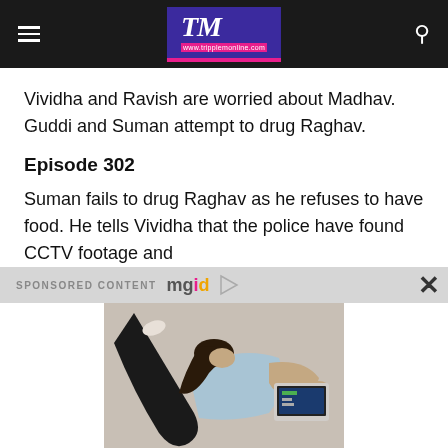TM www.tripplemonline.com
Vividha and Ravish are worried about Madhav. Guddi and Suman attempt to drug Raghav.
Episode 302
Suman fails to drug Raghav as he refuses to have food. He tells Vividha that the police have found CCTV footage and
SPONSORED CONTENT mgid
[Figure (photo): Woman lying on floor using a laptop computer, viewed from above]
10 Ways to Perk Up Your Relationship